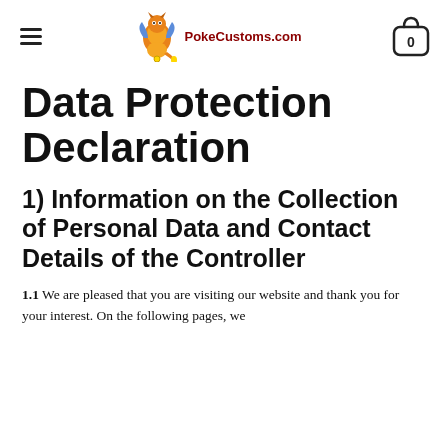≡  PokeCustoms.com  0
Data Protection Declaration
1) Information on the Collection of Personal Data and Contact Details of the Controller
1.1 We are pleased that you are visiting our website and thank you for your interest. On the following pages, we